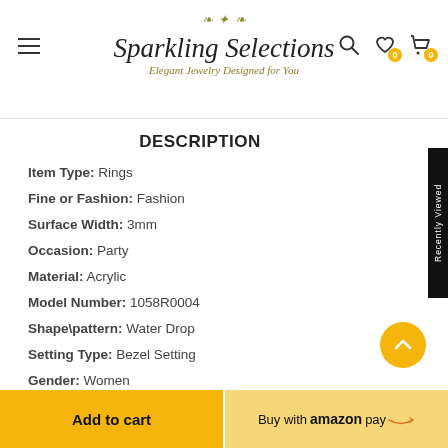Sparkling Selections — Elegant Jewelry Designed for You
DESCRIPTION
Item Type: Rings
Fine or Fashion: Fashion
Surface Width: 3mm
Occasion: Party
Material: Acrylic
Model Number: 1058R0004
Shape\pattern: Water Drop
Setting Type: Bezel Setting
Gender: Women
Metals Type: Stainless Steel
Rings Type: Wedding Bands
Style: Bohemia
Add to cart | Buy with amazon pay